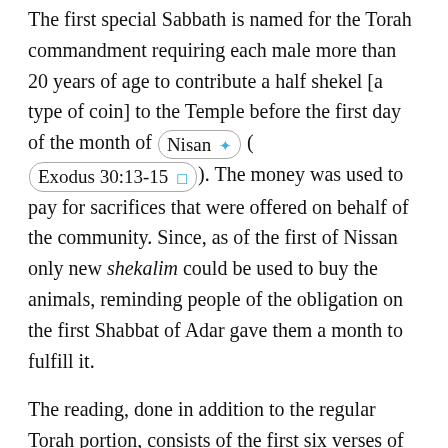The first special Sabbath is named for the Torah commandment requiring each male more than 20 years of age to contribute a half shekel [a type of coin] to the Temple before the first day of the month of Nisan (Exodus 30:13-15). The money was used to pay for sacrifices that were offered on behalf of the community. Since, as of the first of Nissan only new shekalim could be used to buy the animals, reminding people of the obligation on the first Shabbat of Adar gave them a month to fulfill it.
The reading, done in addition to the regular Torah portion, consists of the first six verses of Ki Tisa (Exodus 30:11-16) pertaining to the mitzvah [commandment], and a special haftarah (prophetic reading, II Kings 11:17-12:17) on the subject. The collection meant for Purism is attended...